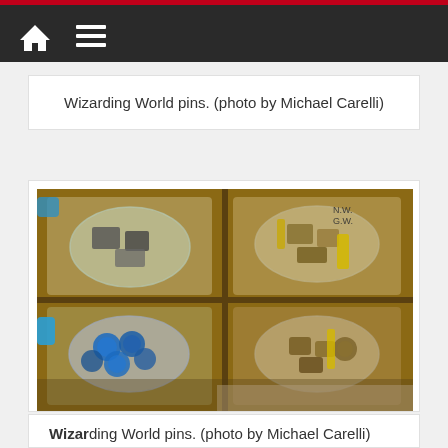Navigation bar with home and menu icons
Wizarding World pins. (photo by Michael Carelli)
[Figure (photo): Overhead view of cardboard box divided into four sections, each containing plastic bags filled with Wizarding World collectible pins. Some bags show blue circular pins, others show gold/bronze colored items.]
Wizarding World pins. (photo by Michael Carelli)